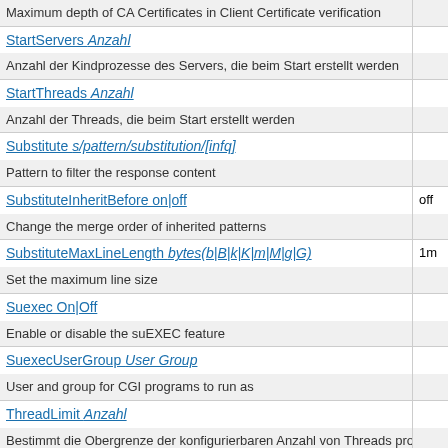Maximum depth of CA Certificates in Client Certificate verification
StartServers Anzahl — Anzahl der Kindprozesse des Servers, die beim Start erstellt werden
StartThreads Anzahl — Anzahl der Threads, die beim Start erstellt werden
Substitute s/pattern/substitution/[infq] — Pattern to filter the response content
SubstituteInheritBefore on|off [off] — Change the merge order of inherited patterns
SubstituteMaxLineLength bytes(b|B|k|K|m|M|g|G) [1m] — Set the maximum line size
Suexec On|Off — Enable or disable the suEXEC feature
SuexecUserGroup User Group — User and group for CGI programs to run as
ThreadLimit Anzahl — Bestimmt die Obergrenze der konfigurierbaren Anzahl von Threads pro
ThreadsPerChild Anzahl — Anzahl der Threads, die mit jedem Kindprozess gestartet werden
ThreadStackSize size — Die Größe des Stacks in Bytes, der von Threads verwendet wird, die O
TimeOut Sekunden [60] —